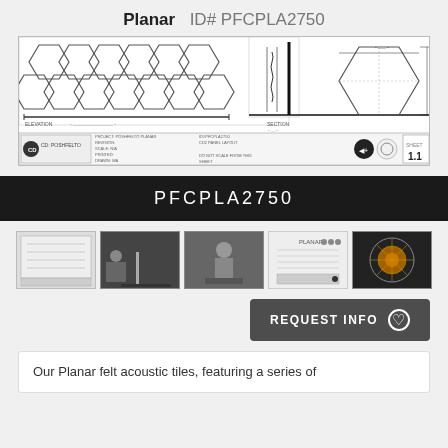Planar   ID# PFCPLA2750
[Figure (engineering-diagram): Technical drawing of Planar felt acoustic tile showing elevation and section views with hexagonal panel layout, including title block with project info: POSHFELTO PLANAR, ID#PFCPLA2750, CD2 PANEL LAYOUT, sheet 1.1]
PFCPLA2750
[Figure (screenshot): Row of five thumbnail images showing: blueprint technical drawing, person sitting in acoustically treated room, person in acoustic room, product spec sheet, decorative ceiling with Planar panels]
REQUEST INFO ♡
Our Planar felt acoustic tiles, featuring a series of